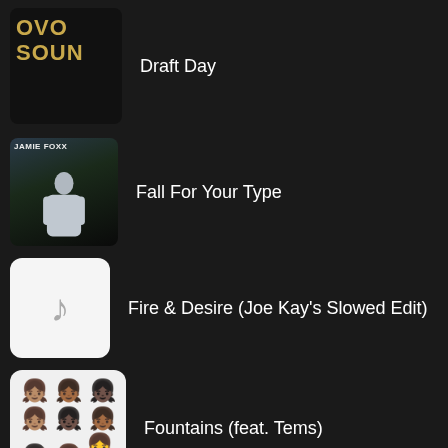Draft Day
Fall For Your Type
Fire & Desire (Joe Kay's Slowed Edit)
Fountains (feat. Tems)